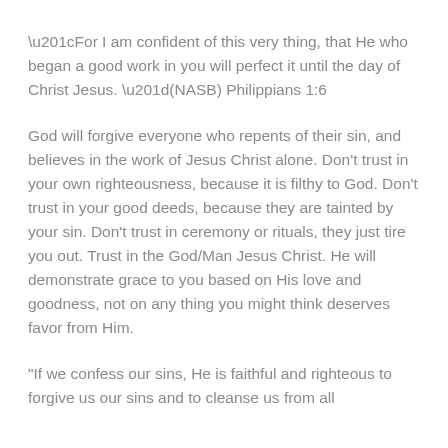“For I am confident of this very thing, that He who began a good work in you will perfect it until the day of Christ Jesus. ”(NASB) Philippians 1:6
God will forgive everyone who repents of their sin, and believes in the work of Jesus Christ alone. Don’t trust in your own righteousness, because it is filthy to God. Don’t trust in your good deeds, because they are tainted by your sin. Don’t trust in ceremony or rituals, they just tire you out. Trust in the God/Man Jesus Christ. He will demonstrate grace to you based on His love and goodness, not on any thing you might think deserves favor from Him.
“If we confess our sins, He is faithful and righteous to forgive us our sins and to cleanse us from all